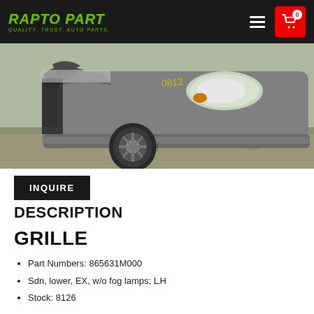RAPTO PART — QUALITY. TRUST. AUTO PARTS.
[Figure (photo): Front end of a damaged gray Kia sedan on gravel, showing crumpled hood, intact headlight, front bumper and wheel]
INQUIRE
DESCRIPTION
GRILLE
Part Numbers: 865631M000
Sdn, lower, EX, w/o fog lamps; LH
Stock: 8126